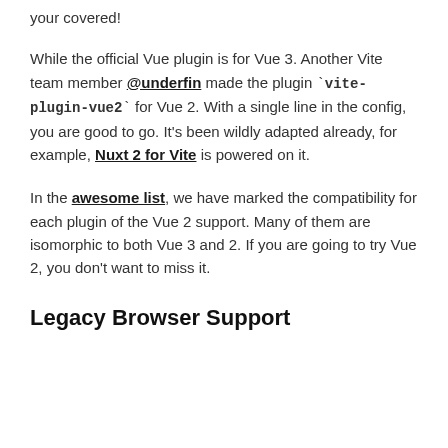your covered!
While the official Vue plugin is for Vue 3. Another Vite team member @underfin made the plugin `vite-plugin-vue2` for Vue 2. With a single line in the config, you are good to go. It's been wildly adapted already, for example, Nuxt 2 for Vite is powered on it.
In the awesome list, we have marked the compatibility for each plugin of the Vue 2 support. Many of them are isomorphic to both Vue 3 and 2. If you are going to try Vue 2, you don't want to miss it.
Legacy Browser Support